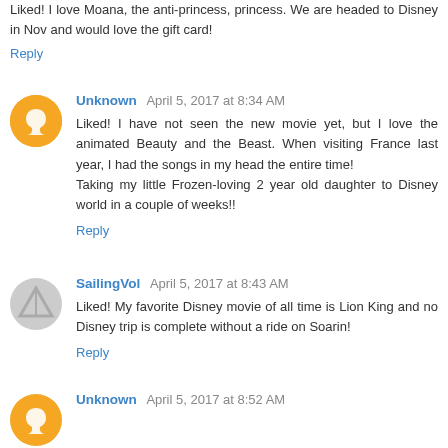Liked! I love Moana, the anti-princess, princess. We are headed to Disney in Nov and would love the gift card!
Reply
Unknown April 5, 2017 at 8:34 AM
Liked! I have not seen the new movie yet, but I love the animated Beauty and the Beast. When visiting France last year, I had the songs in my head the entire time! Taking my little Frozen-loving 2 year old daughter to Disney world in a couple of weeks!!
Reply
SailingVol April 5, 2017 at 8:43 AM
Liked! My favorite Disney movie of all time is Lion King and no Disney trip is complete without a ride on Soarin!
Reply
Unknown April 5, 2017 at 8:52 AM